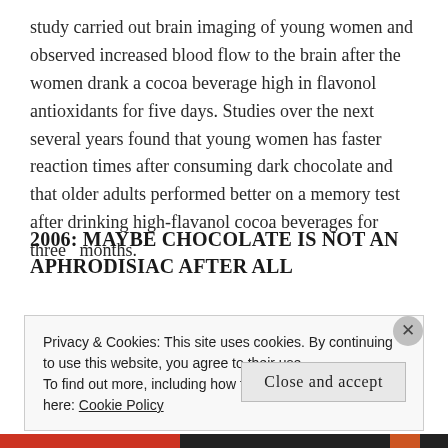study carried out brain imaging of young women and observed increased blood flow to the brain after the women drank a cocoa beverage high in flavonol antioxidants for five days. Studies over the next several years found that young women has faster reaction times after consuming dark chocolate and that older adults performed better on a memory test after drinking high-flavanol cocoa beverages for three  months.
2006: MAYBE CHOCOLATE IS NOT AN APHRODISIAC AFTER ALL
Privacy & Cookies: This site uses cookies. By continuing to use this website, you agree to their use.
To find out more, including how to control cookies, see here: Cookie Policy
Close and accept